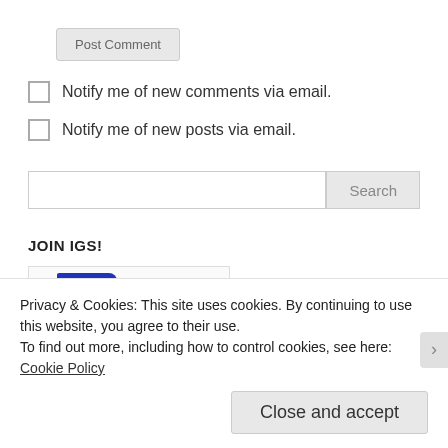Post Comment
Notify me of new comments via email.
Notify me of new posts via email.
[Figure (other): Search bar with input field and Search button]
JOIN IGS!
[Figure (other): Partial image with blue banner/logo element]
Privacy & Cookies: This site uses cookies. By continuing to use this website, you agree to their use.
To find out more, including how to control cookies, see here: Cookie Policy
Close and accept